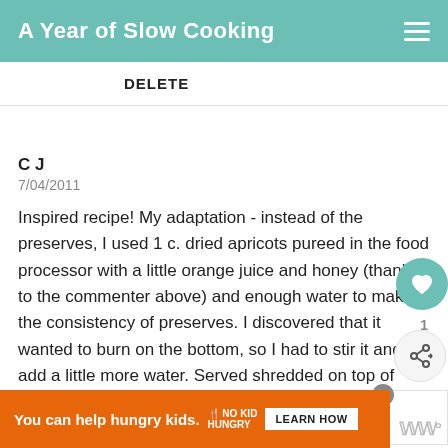A Year of Slow Cooking
DELETE
CJ
7/04/2011
Inspired recipe! My adaptation - instead of the preserves, I used 1 c. dried apricots pureed in the food processor with a little orange juice and honey (thanks to the commenter above) and enough water to make it the consistency of preserves. I discovered that it wanted to burn on the bottom, so I had to stir it and add a little more water. Served shredded on top of hamburger buns. Savory and really good.
WHAT'S NEXT → Whole Chicken in t...
You can help hungry kids.  NO KID HUNGRY  LEARN HOW